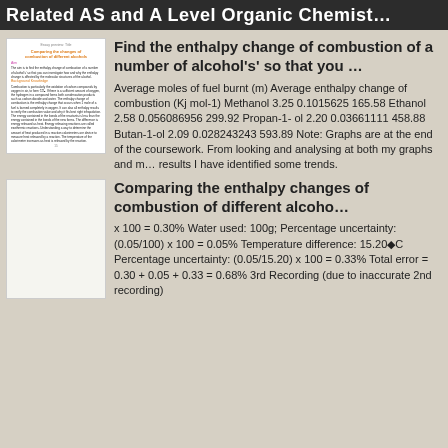Related AS and A Level Organic Chemist…
[Figure (illustration): Thumbnail of a student document titled 'Comparing the changes of combustion of different alcohols']
Find the enthalpy change of combustion of a number of alcohol's' so that you …
Average moles of fuel burnt (m) Average enthalpy change of combustion (Kj mol-1) Methanol 3.25 0.1015625 165.58 Ethanol 2.58 0.056086956 299.92 Propan-1-ol 2.20 0.03661111 458.88 Butan-1-ol 2.09 0.028243243 593.89 Note: Graphs are at the end of the coursework. From looking and analysing at both my graphs and my results I have identified some trends.
[Figure (illustration): Thumbnail placeholder for second document, blank/light colored]
Comparing the enthalpy changes of combustion of different alcoho…
x 100 = 0.30% Water used: 100g; Percentage uncertainty: (0.05/100) x 100 = 0.05% Temperature difference: 15.20◆C Percentage uncertainty: (0.05/15.20) x 100 = 0.33% Total error = 0.30 + 0.05 + 0.33 = 0.68% 3rd Recording (due to inaccurate 2nd recording)